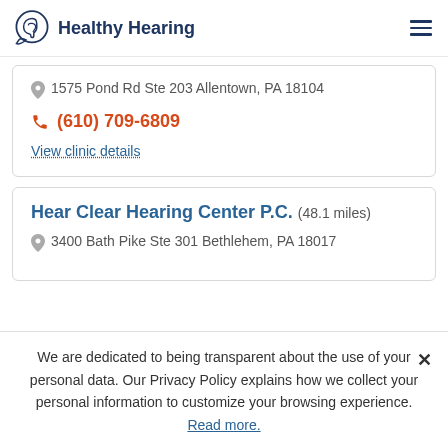Healthy Hearing
1575 Pond Rd Ste 203 Allentown, PA 18104
(610) 709-6809
View clinic details
Hear Clear Hearing Center P.C. (48.1 miles)
3400 Bath Pike Ste 301 Bethlehem, PA 18017
We are dedicated to being transparent about the use of your personal data. Our Privacy Policy explains how we collect your personal information to customize your browsing experience. Read more.